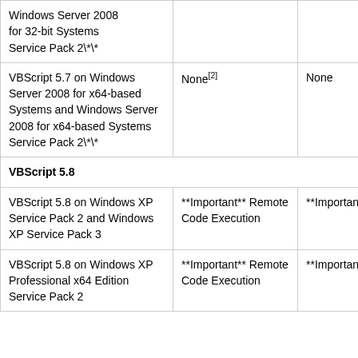| Software | Maximum Security Impact | Aggregate Severity Rating |
| --- | --- | --- |
| Windows Server 2008 for 32-bit Systems Service Pack 2\*\* |  |  |
| VBScript 5.7 on Windows Server 2008 for x64-based Systems and Windows Server 2008 for x64-based Systems Service Pack 2\*\* | None[2] | None |
| VBScript 5.8 |  |  |
| VBScript 5.8 on Windows XP Service Pack 2 and Windows XP Service Pack 3 | **Important** Remote Code Execution | **Important** |
| VBScript 5.8 on Windows XP Professional x64 Edition Service Pack 2 | **Important** Remote Code Execution | **Important** |